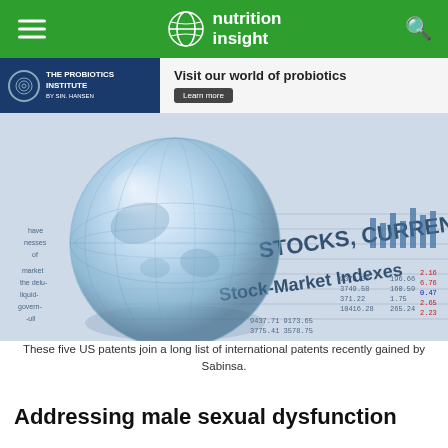nutrition insight
[Figure (screenshot): Advertisement banner for The Probiotics Institute: 'Visit our world of probiotics' with a Learn more button]
[Figure (photo): A glass globe resting on financial newspaper pages showing Stock-Market Indexes and STOCKS, CURRENCIES headlines]
These five US patents join a long list of international patents recently gained by Sabinsa.
Addressing male sexual dysfunction